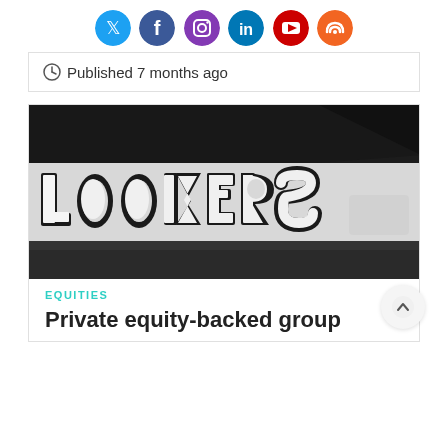[Figure (infographic): Social media icon buttons: Twitter (blue), Facebook (dark blue), Instagram (purple), LinkedIn (blue), YouTube (red), RSS (orange) — all circular]
Published 7 months ago
[Figure (photo): Black and white photo of a Lookers car dealership sign with large 3D white letters spelling 'lookers' on a building facade]
EQUITIES
Private equity-backed group